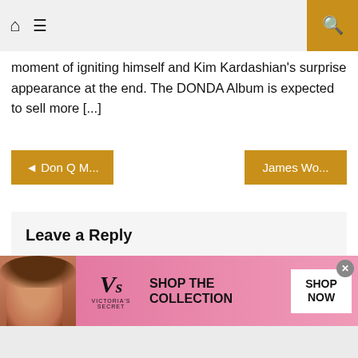Home Menu Search
moment of igniting himself and Kim Kardashian's surprise appearance at the end. The DONDA Album is expected to sell more [...]
◄ Don Q M...
James Wo...
Leave a Reply
You must be logged in to post a comment.
[Figure (photo): Victoria's Secret advertisement banner with model, VS logo, 'SHOP THE COLLECTION' text and 'SHOP NOW' button]